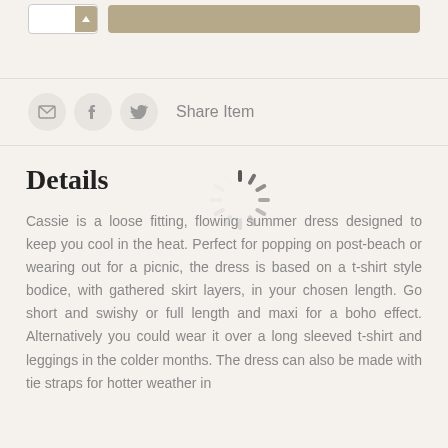[Figure (screenshot): Top section showing quantity input box with arrow button and an add-to-cart button in tan/beige color]
[Figure (infographic): Share item row with three circular icon buttons (email, facebook, twitter) and Share Item label]
Details
[Figure (other): Loading spinner graphic overlaid on the page content]
Cassie is a loose fitting, flowing summer dress designed to keep you cool in the heat. Perfect for popping on post-beach or wearing out for a picnic, the dress is based on a t-shirt style bodice, with gathered skirt layers, in your chosen length. Go short and swishy or full length and maxi for a boho effect. Alternatively you could wear it over a long sleeved t-shirt and leggings in the colder months. The dress can also be made with tie straps for hotter weather in